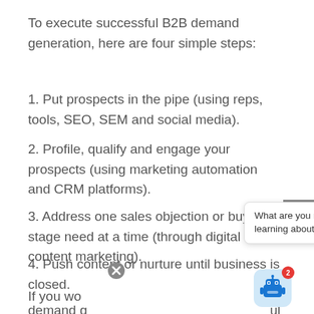To execute successful B2B demand generation, here are four simple steps:
1. Put prospects in the pipe (using reps, tools, SEO, SEM and social media).
2. Profile, qualify and engage your prospects (using marketing automation and CRM platforms).
3. Address one sales objection or buyer stage need at a time (through digital content marketing).
4. Push content or nurture until business is closed.
If you wo... B demand g... ul
[Figure (other): Chat tooltip overlay with text 'What are you most interested in learning about today?' and a robot chatbot widget with a red badge showing 2, plus a scroll-up button and close X icon.]